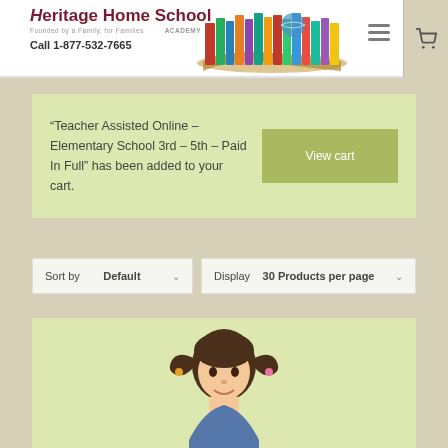Heritage Home School Academy — Founded by a Family, for Families — Call 1-877-532-7665
“Teacher Assisted Online – Elementary School 3rd – 5th – Paid In Full” has been added to your cart.
View cart
Sort by Default
Display 30 Products per page
[Figure (photo): Partial view of a child's head with pigtails at bottom of page]